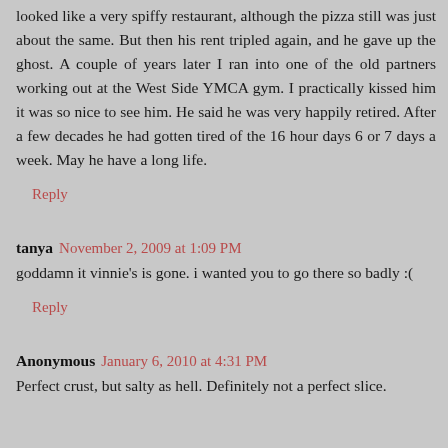looked like a very spiffy restaurant, although the pizza still was just about the same. But then his rent tripled again, and he gave up the ghost. A couple of years later I ran into one of the old partners working out at the West Side YMCA gym. I practically kissed him it was so nice to see him. He said he was very happily retired. After a few decades he had gotten tired of the 16 hour days 6 or 7 days a week. May he have a long life.
Reply
tanya  November 2, 2009 at 1:09 PM
goddamn it vinnie's is gone. i wanted you to go there so badly :(
Reply
Anonymous  January 6, 2010 at 4:31 PM
Perfect crust, but salty as hell. Definitely not a perfect slice.